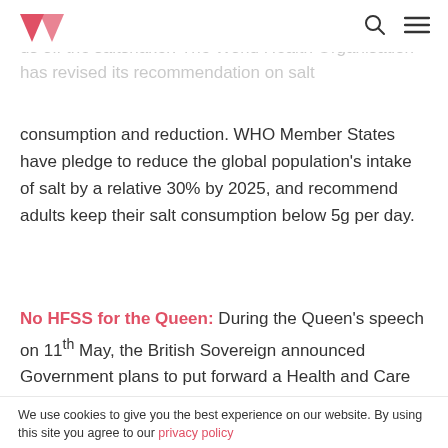[Navigation bar with logo, search icon, and menu icon]
below: ds off the saltshaker! The World Health Organisation has revised its recommendation on salt consumption and reduction. WHO Member States have pledge to reduce the global population's intake of salt by a relative 30% by 2025, and recommend adults keep their salt consumption below 5g per day.
No HFSS for the Queen: During the Queen's speech on 11th May, the British Sovereign announced Government plans to put forward a Health and Care Bill. The Bill foresees to restrict the promotions on HFSS food by April 2022, for instance through a ban of junk food advertisements before 9:00 pm on television, and a total ban on online adverts.
We use cookies to give you the best experience on our website. By using this site you agree to our privacy policy